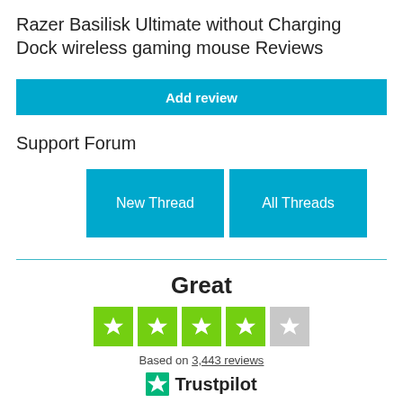Razer Basilisk Ultimate without Charging Dock wireless gaming mouse Reviews
Add review
Support Forum
New Thread
All Threads
Great
[Figure (other): 4.5 out of 5 stars rating — four filled green star boxes and one grey star box with white star icons]
Based on 3,443 reviews
[Figure (logo): Trustpilot logo with green star icon and Trustpilot text]